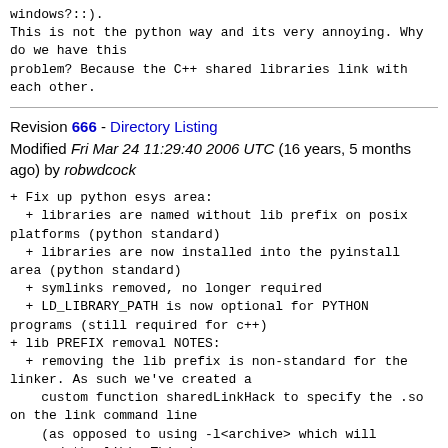windows?::).
This is not the python way and its very annoying. Why do we have this
problem? Because the C++ shared libraries link with each other.
Revision 666 - Directory Listing
Modified Fri Mar 24 11:29:40 2006 UTC (16 years, 5 months ago) by robwdcock
+ Fix up python esys area:
  + libraries are named without lib prefix on posix platforms (python standard)
  + libraries are now installed into the pyinstall area (python standard)
  + symlinks removed, no longer required
  + LD_LIBRARY_PATH is now optional for PYTHON programs (still required for c++)
+ lib PREFIX removal NOTES:
  + removing the lib prefix is non-standard for the linker. As such we've created a
    custom function sharedLinkHack to specify the .so on the link command line
    (as opposed to using -l<archive> which will prepend the lib). This has a
    a small slight of hand for scons which was being to "helpful". Scons
    ... specifies that when creating a shared library all